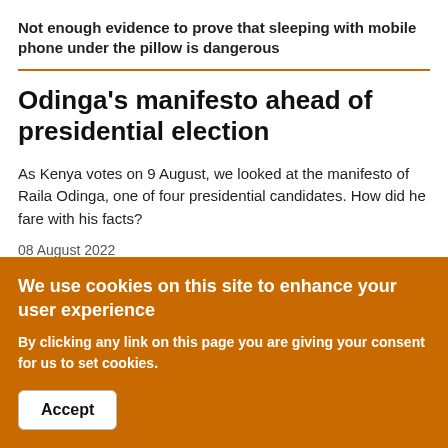Not enough evidence to prove that sleeping with mobile phone under the pillow is dangerous
Odinga's manifesto ahead of presidential election
As Kenya votes on 9 August, we looked at the manifesto of Raila Odinga, one of four presidential candidates. How did he fare with his facts?
08 August 2022
We use cookies on this site to enhance your user experience
By clicking any link on this page you are giving your consent for us to set cookies.